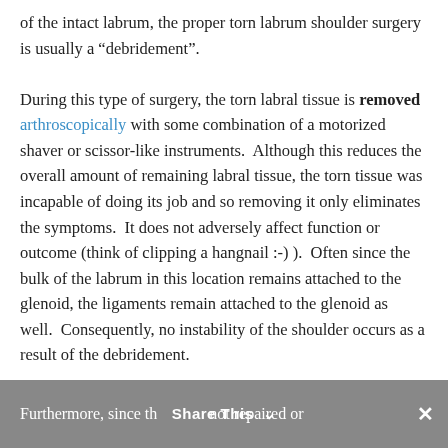of the intact labrum, the proper torn labrum shoulder surgery is usually a “debridement”. During this type of surgery, the torn labral tissue is removed arthroscopically with some combination of a motorized shaver or scissor-like instruments. Although this reduces the overall amount of remaining labral tissue, the torn tissue was incapable of doing its job and so removing it only eliminates the symptoms. It does not adversely affect function or outcome (think of clipping a hangnail :-) ). Often since the bulk of the labrum in this location remains attached to the glenoid, the ligaments remain attached to the glenoid as well. Consequently, no instability of the shoulder occurs as a result of the debridement.
Furthermore, since the tissue is not repaired or